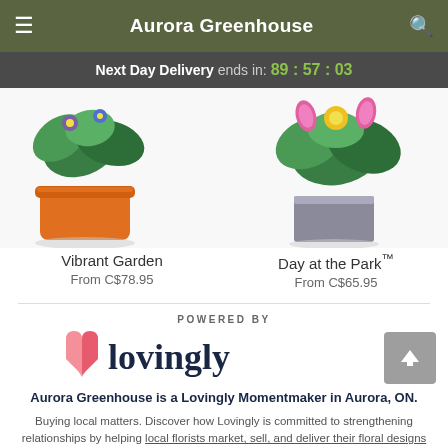Aurora Greenhouse
Next Day Delivery ends in: 89 : 57 : 03
[Figure (photo): Vibrant Garden product photo - orange pot with colorful flowers and greenery]
Vibrant Garden
From C$78.95
[Figure (photo): Day at the Park product photo - grey square vase with pink, yellow and green flowers]
Day at the Park™
From C$65.95
[Figure (logo): Lovingly logo with pink heart icon and dark blue wordmark]
POWERED BY
Aurora Greenhouse is a Lovingly Momentmaker in Aurora, ON.
Buying local matters. Discover how Lovingly is committed to strengthening relationships by helping local florists market, sell, and deliver their floral designs online.